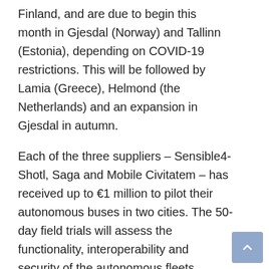Finland, and are due to begin this month in Gjesdal (Norway) and Tallinn (Estonia), depending on COVID-19 restrictions. This will be followed by Lamia (Greece), Helmond (the Netherlands) and an expansion in Gjesdal in autumn.
Each of the three suppliers – Sensible4-Shotl, Saga and Mobile Civitatem – has received up to €1 million to pilot their autonomous buses in two cities. The 50-day field trials will assess the functionality, interoperability and security of the autonomous fleets.
Helsinki pilot
The first FABULOS on-road pilot was launched